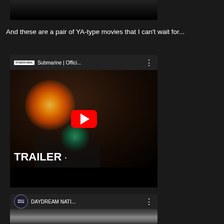[Figure (screenshot): Top portion of a YouTube video embed, partially cut off, showing a dark scene with a figure]
And these are a pair of YA-type movies that I can't wait for...
[Figure (screenshot): YouTube video embed for 'Submarine | Offici...' from STUDIOCANAL channel, showing two people in a romantic scene with lens flare, TRAILER text overlay and red play button]
[Figure (screenshot): YouTube video embed for 'DAYDREAM NATI...' from HOLLYWOOD channel, showing a close-up of a face in dim lighting]